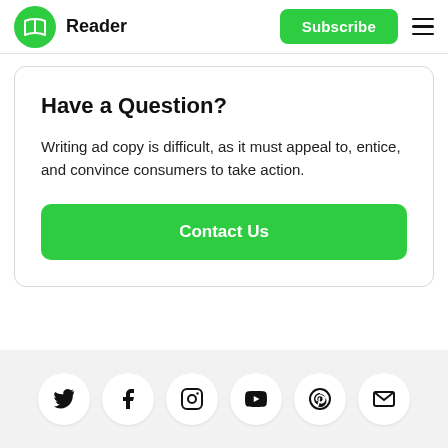Reader | Subscribe
Have a Question?
Writing ad copy is difficult, as it must appeal to, entice, and convince consumers to take action.
Contact Us
[Figure (other): Social media icons row: Twitter, Facebook, Instagram, YouTube, Pinterest, Email]